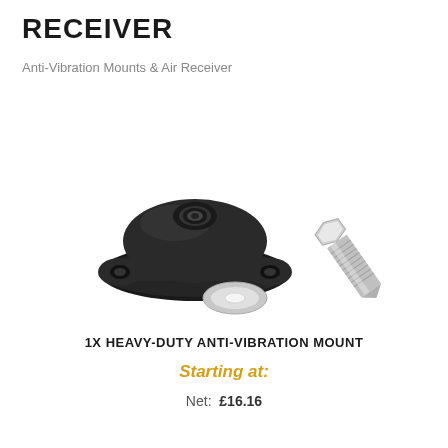RECEIVER
Anti-Vibration Mounts & Air Receiver
[Figure (photo): Product photo showing a heavy-duty anti-vibration rubber mount with a metal flanged base plate with two mounting holes, accompanied by a silver hex bolt and a flat washer]
1X HEAVY-DUTY ANTI-VIBRATION MOUNT
Starting at:
Net:  £16.16